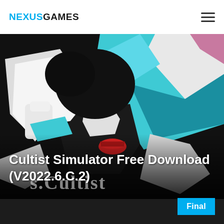NEXUSGAMES
[Figure (illustration): Stylized anime/comic-style illustration for Cultist Simulator game, featuring a figure with black clothing, white gloves, teal/blue geometric shapes, red lips, against dark background. Game title 's.Cultist' visible at bottom in gothic lettering.]
Cultist Simulator Free Download (V2022.6.C.2)
Final